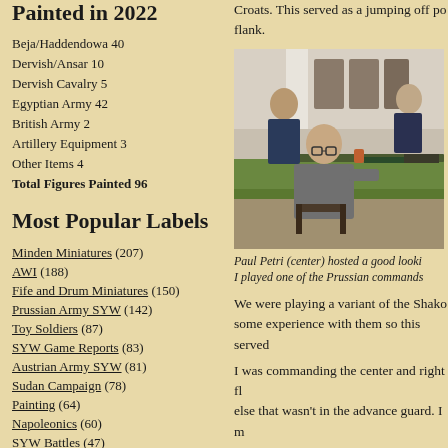Painted in 2022
Beja/Haddendowa 40
Dervish/Ansar 10
Dervish Cavalry 5
Egyptian Army 42
British Army 2
Artillery Equipment 3
Other Items 4
Total Figures Painted 96
Most Popular Labels
Minden Miniatures (207)
AWI (188)
Fife and Drum Miniatures (150)
Prussian Army SYW (142)
Toy Soldiers (87)
SYW Game Reports (83)
Austrian Army SYW (81)
Sudan Campaign (78)
Painting (64)
Napoleonics (60)
SYW Battles (47)
Richard Ansell (44)
Russian Army SYW (44)
British AWI Army (39)
South Carolina Campaign (36)
Terrain (33)
Croats. This served as a jumping off point flank.
[Figure (photo): Photo of people playing a wargame at a table. Paul Petri (center) is hosting the game.]
Paul Petri (center) hosted a good looki... I played one of the Prussian commands
We were playing a variant of the Shako rules... some experience with them so this served...
I was commanding the center and right fl... else that wasn't in the advance guard. I m...